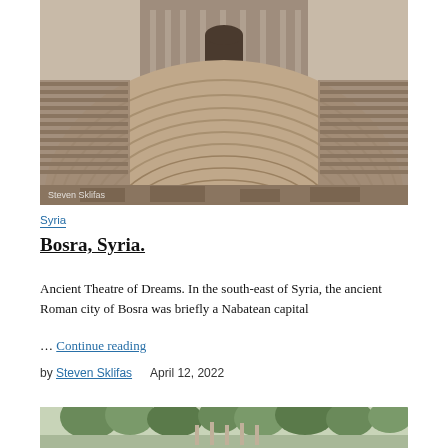[Figure (photo): Aerial view of the ancient Roman theatre at Bosra, Syria, showing semicircular stone seating rows and stage building. Photo credit: Steven Sklifas.]
Syria
Bosra, Syria.
Ancient Theatre of Dreams. In the south-east of Syria, the ancient Roman city of Bosra was briefly a Nabatean capital
… Continue reading
by Steven Sklifas    April 12, 2022
[Figure (photo): Partially visible photo at bottom showing an outdoor scene with trees and structures.]